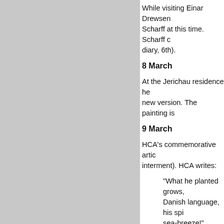[Figure (other): Grey rectangle occupying the left portion of the page]
While visiting Einar Drewsen Scharff at this time. Scharff c diary, 6th).
8 March
At the Jerichau residence he new version. The painting is
9 March
HCA's commemorative artic interment). HCA writes:
"What he planted grows, Danish language, his spi sea-breeze!"
HCA then describes him in a the basis of the poem "Den
"awoken" from death, an lowered to the grave, ac